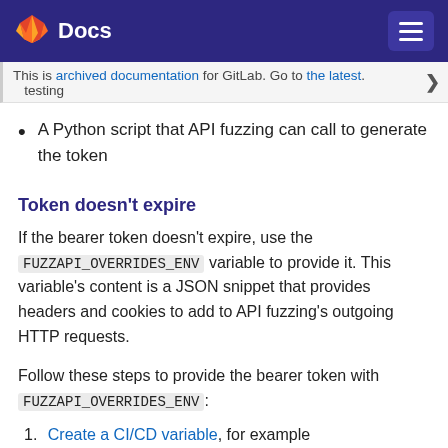Docs
This is archived documentation for GitLab. Go to the latest. testing
A Python script that API fuzzing can call to generate the token
Token doesn't expire
If the bearer token doesn't expire, use the FUZZAPI_OVERRIDES_ENV variable to provide it. This variable's content is a JSON snippet that provides headers and cookies to add to API fuzzing's outgoing HTTP requests.
Follow these steps to provide the bearer token with FUZZAPI_OVERRIDES_ENV:
Create a CI/CD variable, for example TEST_API_BEARERAUTH with the value {"headers":